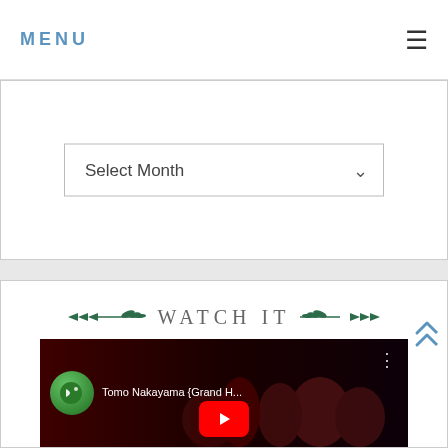MENU
[Figure (screenshot): Select Month dropdown widget]
WATCH IT
[Figure (screenshot): YouTube video thumbnail for Tomo Nakayama {Grand H... with play button overlay]